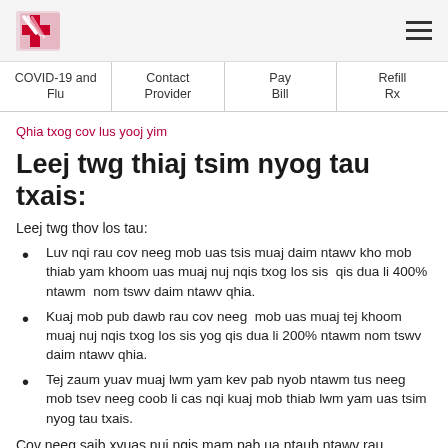Logo and navigation hamburger menu
COVID-19 and Flu | Contact Provider | Pay Bill | Refill Rx
Qhia txog cov lus yooj yim
Leej twg thiaj tsim nyog tau txais:
Leej twg thov los tau:
Luv nqi rau cov neeg mob uas tsis muaj daim ntawv kho mob thiab yam khoom uas muaj nuj nqis txog los sis  qis dua li 400% ntawm  nom tswv daim ntawv qhia.
Kuaj mob pub dawb rau cov neeg  mob uas muaj tej khoom muaj nuj nqis txog los sis yog qis dua li 200% ntawm nom tswv daim ntawv qhia.
Tej zaum yuav muaj lwm yam kev pab nyob ntawm tus neeg mob tsev neeg coob li cas nqi kuaj mob thiab lwm yam uas tsim nyog tau txais.
Cov neeg saib xyuas nuj nqis mam pab ua ntaub ntawv rau